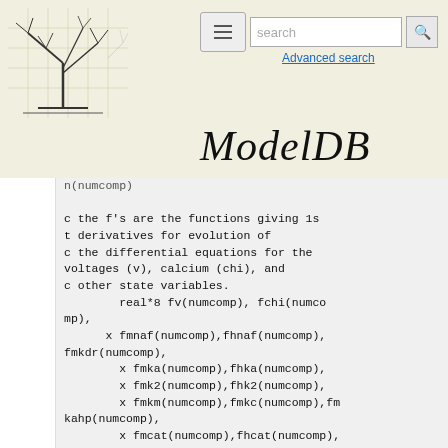ModelDB — Advanced search
n(numcomp)

c the f's are the functions giving 1st derivatives for evolution of
c the differential equations for the voltages (v), calcium (chi), and
c other state variables.
        real*8 fv(numcomp), fchi(numcomp),
      x fmnaf(numcomp),fhnaf(numcomp),fmkdr(numcomp),
        x fmka(numcomp),fhka(numcomp),
        x fmk2(numcomp),fhk2(numcomp),
        x fmkm(numcomp),fmkc(numcomp),fmkahp(numcomp),
        x fmcat(numcomp),fhcat(numcomp),
        x fmcal(numcomp),fmar(numcomp)

c below are for calculating the partial derivatives
        real*8 dfv,dv(numcomp,numcom